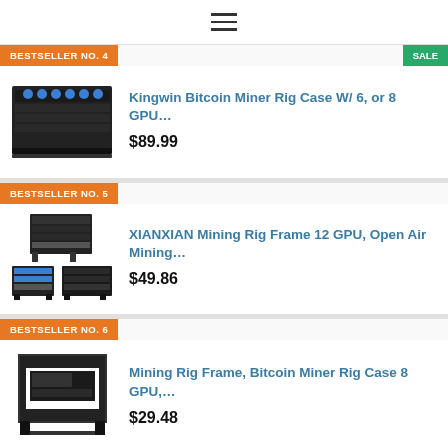≡
BESTSELLER NO. 4 | SALE
Kingwin Bitcoin Miner Rig Case W/ 6, or 8 GPU…
$89.99
BESTSELLER NO. 5
XIANXIAN Mining Rig Frame 12 GPU, Open Air Mining…
$49.86
BESTSELLER NO. 6
Mining Rig Frame, Bitcoin Miner Rig Case 8 GPU,…
$29.48
Recent Posts
utroam sound box...